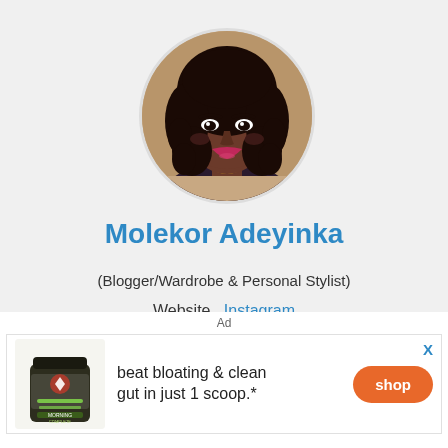[Figure (photo): Circular profile photo of a woman with curly hair, wearing a pink/magenta lipstick and a necklace, against a light background.]
Molekor Adeyinka
(Blogger/Wardrobe & Personal Stylist)
Website  Instagram
If you live in Nigeria, this is a constant. Staying hydrated is something we have to be at the top...
Ad
beat bloating & clean gut in just 1 scoop.*
shop
X